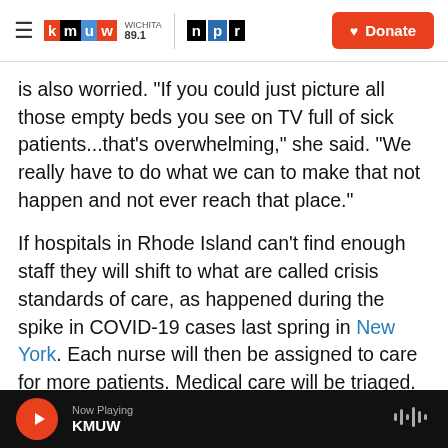KMUW WICHITA 89.1 | NPR | Donate
is also worried. "If you could just picture all those empty beds you see on TV full of sick patients...that's overwhelming," she said. "We really have to do what we can to make that not happen and not ever reach that place."
If hospitals in Rhode Island can't find enough staff they will shift to what are called crisis standards of care, as happened during the spike in COVID-19 cases last spring in New York. Each nurse will then be assigned to care for more patients. Medical care will be triaged. In Rhode Island, health care providers say their best hope for preventing that
Now Playing KMUW